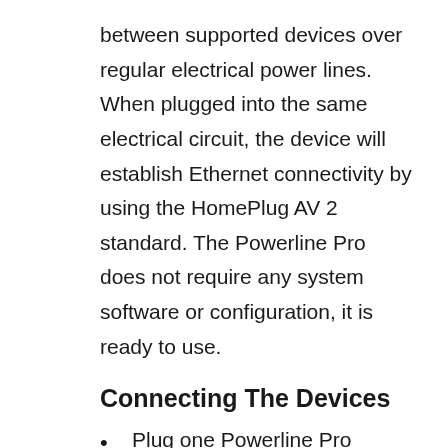between supported devices over regular electrical power lines. When plugged into the same electrical circuit, the device will establish Ethernet connectivity by using the HomePlug AV 2 standard. The Powerline Pro does not require any system software or configuration, it is ready to use.
Connecting The Devices
Plug one Powerline Pro device into a power socket.
Connect to one of the LAN ports of your SimRush Controller to the Powerline Pro Ethernet port.
Plug another Powerline Pro unit (or any other compatible device) somewhere in the same